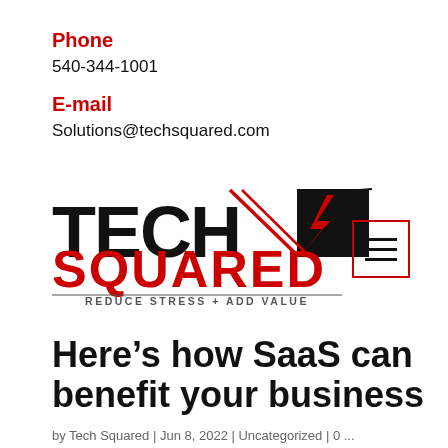Phone
540-344-1001
E-mail
Solutions@techsquared.com
[Figure (logo): Tech Squared logo with lightning bolt graphic and tagline REDUCE STRESS + ADD VALUE]
Here’s how SaaS can benefit your business
by Tech Squared | Jun 8, 2022 | Uncategorized | 0...